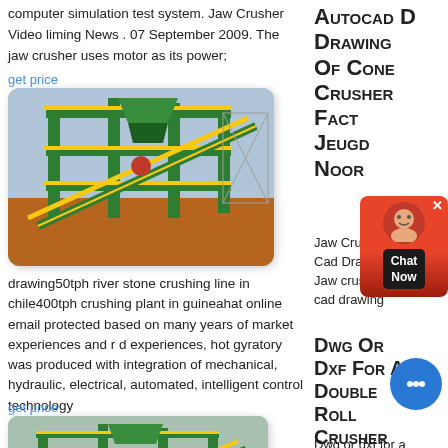computer simulation test system. Jaw Crusher Video liming News . 07 September 2009. The jaw crusher uses motor as its power;
get price
[Figure (photo): Industrial jaw crusher / screening plant machine with green and yellow structure on red earth site]
Autocad D Drawing Of Cone Crusher Fact Jeugd Noor
Jaw Crusher 3d Cad Drawing. Jaw crusher 3d cad drawing
drawing50tph river stone crushing line in chile400tph crushing plant in guineahat online email protected based on many years of market experiences and r d experiences, hot gyratory was produced with integration of mechanical, hydraulic, electrical, automated, intelligent control technology
get price
[Figure (photo): Industrial jaw crusher machine with green and yellow structure, lower angle view]
Dwg Or Dxf For A Double Roll Crusher
Dwg or dxf for a